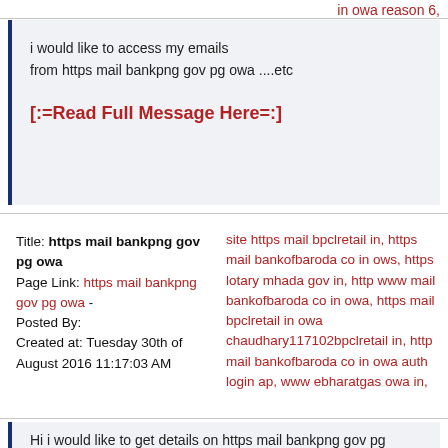in owa reason 6,
i would like to access my emails from https mail bankpng gov pg owa ....etc
[:=Read Full Message Here=:]
Title: https mail bankpng gov pg owa
Page Link: https mail bankpng gov pg owa -
Posted By:
Created at: Tuesday 30th of August 2016 11:17:03 AM
site https mail bpclretail in, https mail bankofbaroda co in ows, https lotary mhada gov in, http www mail bankofbaroda co in owa, https mail bpclretail in owa chaudhary117102bpclretail in, http mail bankofbaroda co in owa auth login ap, www ebharatgas owa in,
Hi i would like to get details on https mail bankpng gov pg